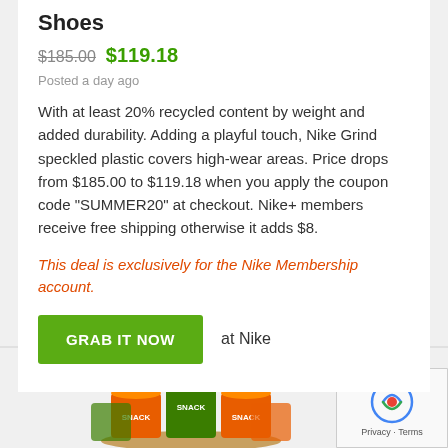Shoes
$185.00 $119.18
Posted a day ago
With at least 20% recycled content by weight and added durability.  Adding a playful touch, Nike Grind speckled plastic covers high-wear areas. Price drops from $185.00 to $119.18 when you apply the coupon code "SUMMER20" at checkout.  Nike+ members receive free shipping otherwise it adds $8.
This deal is exclusively for the Nike Membership account.
GRAB IT NOW  at Nike
[Figure (photo): Stacked colorful snack cups/bowls at the bottom of the page]
[Figure (other): reCAPTCHA badge with Privacy and Terms links]